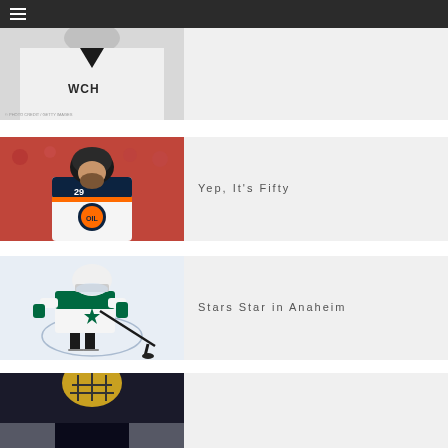Navigation menu
[Figure (photo): Hockey player wearing WCH jersey, partially cropped, close-up shot]
[Figure (photo): Edmonton Oilers hockey player #29 in white away jersey with orange and navy details, looking at camera]
Yep, It's Fifty
[Figure (photo): Dallas Stars hockey player in white jersey with green star logo, skating on ice with hockey stick]
Stars Star in Anaheim
[Figure (photo): Hockey goalie with gold/black helmet, partially visible at bottom of page]